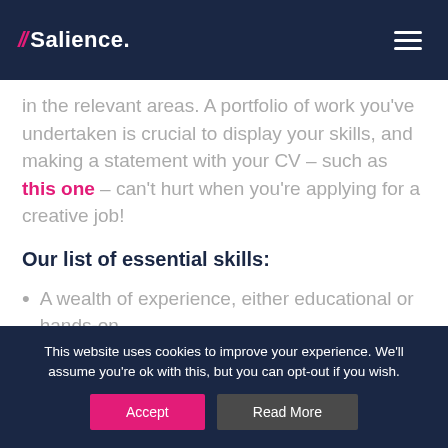// Salience.
in the relevant areas. A portfolio of work you've undertaken is crucial to display your skills, and making a statement with your CV – such as this one – can't hurt when you're applying for a creative job!
Our list of essential skills:
A wealth of experience, either educational or hands-on
This website uses cookies to improve your experience. We'll assume you're ok with this, but you can opt-out if you wish.